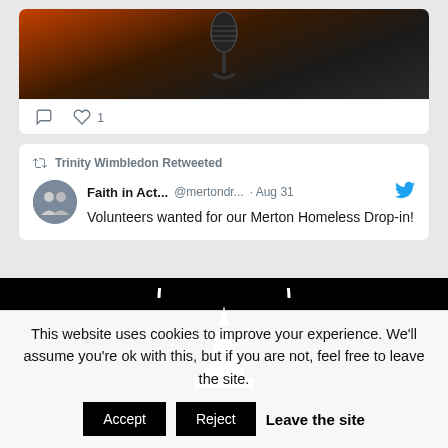[Figure (photo): Microphone close-up photo with dark orange/brown background, top portion visible in tweet card]
♡ 1
Trinity Wimbledon Retweeted
Faith in Act... @mertondr... · Aug 31
Volunteers wanted for our Merton Homeless Drop-in!
[Figure (logo): Church/building logo in white on black background - circular arch with cross/spire shape]
This website uses cookies to improve your experience. We'll assume you're ok with this, but if you are not, feel free to leave the site. Accept Reject Leave the site